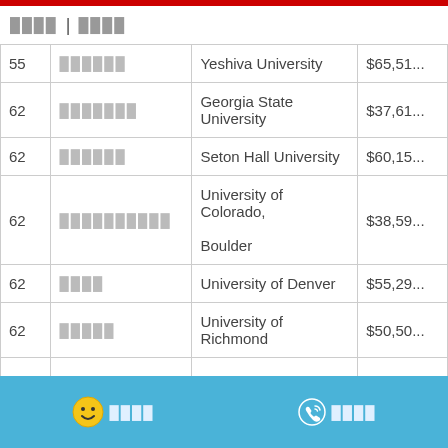████ | ████
| Rank | Field | University | Cost |
| --- | --- | --- | --- |
| 55 | ██████ | Yeshiva University | $65,51... |
| 62 | ███████ | Georgia State University | $37,61... |
| 62 | ██████ | Seton Hall University | $60,15... |
| 62 | ██████████ | University of Colorado, Boulder | $38,59... |
| 62 | ████ | University of Denver | $55,29... |
| 62 | █████ | University of Richmond | $50,50... |
| 67 | █████ | Rutgers University | $43,33... |
| 67 | ███████ | Wake Forest University | $49,27... |
████  ████